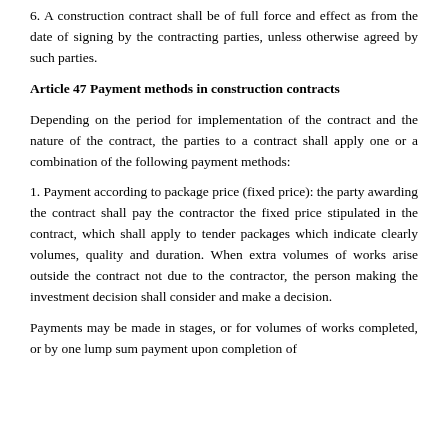6. A construction contract shall be of full force and effect as from the date of signing by the contracting parties, unless otherwise agreed by such parties.
Article 47 Payment methods in construction contracts
Depending on the period for implementation of the contract and the nature of the contract, the parties to a contract shall apply one or a combination of the following payment methods:
1. Payment according to package price (fixed price): the party awarding the contract shall pay the contractor the fixed price stipulated in the contract, which shall apply to tender packages which indicate clearly volumes, quality and duration. When extra volumes of works arise outside the contract not due to the contractor, the person making the investment decision shall consider and make a decision.
Payments may be made in stages, or for volumes of works completed, or by one lump sum payment upon completion of